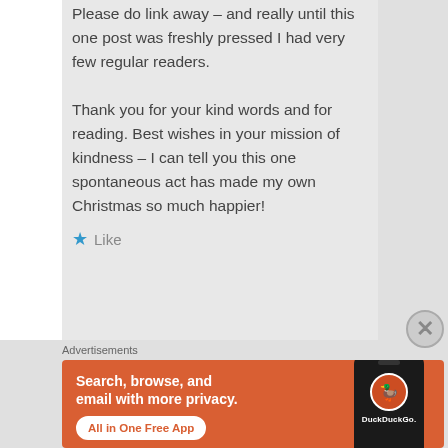Please do link away – and really until this one post was freshly pressed I had very few regular readers. Thank you for your kind words and for reading. Best wishes in your mission of kindness – I can tell you this one spontaneous act has made my own Christmas so much happier!
Like
Advertisements
[Figure (infographic): DuckDuckGo advertisement banner with orange background. Text reads: 'Search, browse, and email with more privacy. All in One Free App' with a phone mockup showing the DuckDuckGo logo and wordmark.]